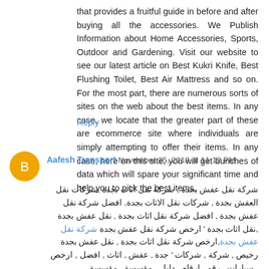that provides a fruitful guide in before and after buying all the accessories. We Publish Information about Home Accessories, Sports, Outdoor and Gardening. Visit our website to see our latest article on Best Kukri Knife, Best Flushing Toilet, Best Air Mattress and so on. For the most part, there are numerous sorts of sites on the web about the best items. In any case, we locate that the greater part of these are ecommerce site where individuals are simply attempting to offer their items. In any case, here on this site, you will get bunches of data which will spare your significant time and help you to pick the best items.
Reply
Aafesh Transport November 25, 2018 at 11:12 PM
شركة نقل عفش بجدة , شركة نقل اثاث بجدة ,شركات نقل العفش بجدة , شركات نقل الاثاث بجدة, افضل شركة نقل عفش بجدة , افضل شركة نقل اثاث بجدة , نقل عفش بجدة ,نقل اثاث بجدة ' ارخص شركة نقل عفش بجدة ,ارخص شركة نقل اثاث بجدة , نقل عفش بجدة رخيص , شركة , شركات ' جدة , عفش , اثاث , افضل , ارخص , سيارات , رقم , ارقام , دليل , مؤسسة , مؤسسة